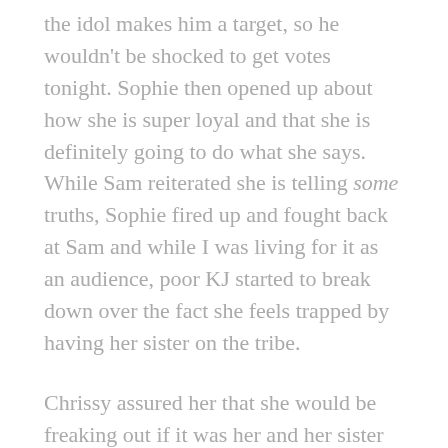the idol makes him a target, so he wouldn't be shocked to get votes tonight. Sophie then opened up about how she is super loyal and that she is definitely going to do what she says. While Sam reiterated she is telling some truths, Sophie fired up and fought back at Sam and while I was living for it as an audience, poor KJ started to break down over the fact she feels trapped by having her sister on the tribe.
Chrissy assured her that she would be freaking out if it was her and her sister with poor KJ just saying how tired she is with everything. Sophie tried to calm her sister and let her know that she is ok before pointing out that there are bigger strategic and social threats in the tribe, which turned conversation back to Khanh. Who was thrilled to have drama deflecting from his idol. He then said that a multiple idol would be...